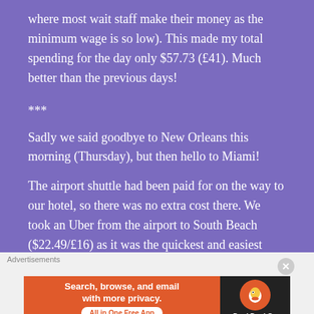where most wait staff make their money as the minimum wage is so low). This made my total spending for the day only $57.73 (£41). Much better than the previous days!
***
Sadly we said goodbye to New Orleans this morning (Thursday), but then hello to Miami!
The airport shuttle had been paid for on the way to our hotel, so there was no extra cost there. We took an Uber from the airport to South Beach ($22.49/£16) as it was the quickest and easiest way, then left our luggage at the
[Figure (other): DuckDuckGo advertisement banner: 'Search, browse, and email with more privacy. All in One Free App' on orange background with DuckDuckGo logo on dark background.]